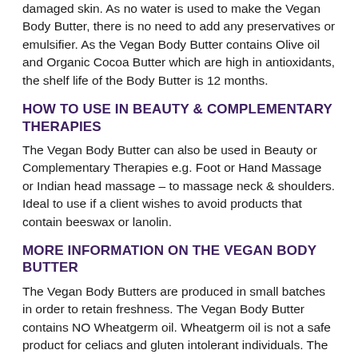damaged skin. As no water is used to make the Vegan Body Butter, there is no need to add any preservatives or emulsifier. As the Vegan Body Butter contains Olive oil and Organic Cocoa Butter which are high in antioxidants, the shelf life of the Body Butter is 12 months.
HOW TO USE IN BEAUTY & COMPLEMENTARY THERAPIES
The Vegan Body Butter can also be used in Beauty or Complementary Therapies e.g. Foot or Hand Massage or Indian head massage – to massage neck & shoulders. Ideal to use if a client wishes to avoid products that contain beeswax or lanolin.
MORE INFORMATION ON THE VEGAN BODY BUTTER
The Vegan Body Butters are produced in small batches in order to retain freshness. The Vegan Body Butter contains NO Wheatgerm oil. Wheatgerm oil is not a safe product for celiacs and gluten intolerant individuals. The Vegan Body Butter contains NO Coconut oil as the smell of Coconut oil can be overpowering.
Avoid using in the first trimester of pregnancy.